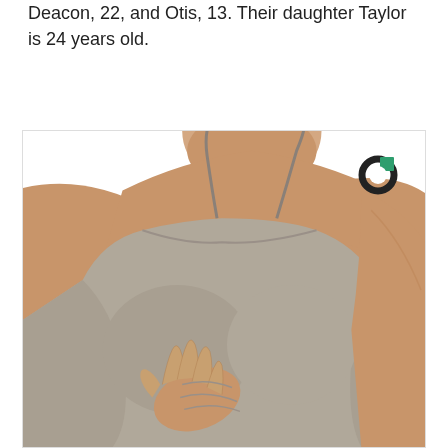Deacon, 22, and Otis, 13. Their daughter Taylor is 24 years old.
[Figure (photo): A woman wearing a grey spaghetti-strap camisole top, shown from the neck/chin down, with one hand placed on her chest/breast area against a white background. A circular logo (black ring with teal/green accent) appears in the upper right of the image.]